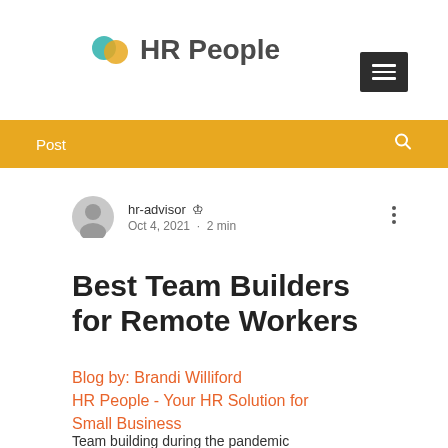[Figure (logo): HR People logo with two overlapping circles (teal and gold) and bold text 'HR People']
[Figure (other): Dark hamburger menu button (three white lines on dark background)]
Post
hr-advisor  Admin
Oct 4, 2021 · 2 min
Best Team Builders for Remote Workers
Blog by: Brandi Williford
HR People - Your HR Solution for Small Business
Team building during the pandemic